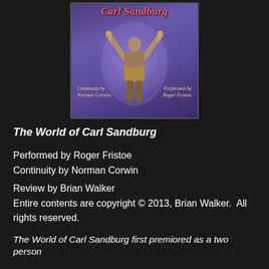[Figure (photo): Book/album cover for 'The World of Carl Sandburg' showing a person with arms raised against a purple spotlight background, with script text 'Continuity by Norman Corwin' and 'Performed by Roger Fristoe']
The World of Carl Sandburg
Performed by Roger Fristoe
Continuity by Norman Corwin
Review by Brian Walker
Entire contents are copyright © 2013, Brian Walker.  All rights reserved.
The World of Carl Sandburg first premiored as a two person